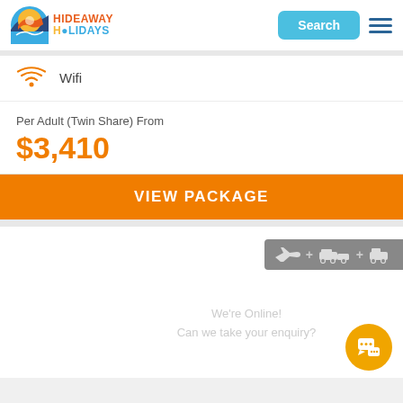[Figure (logo): Hideaway Holidays logo with circular sun/beach icon and brand name in blue, orange, and yellow]
Wifi
Per Adult (Twin Share) From
$3,410
VIEW PACKAGE
[Figure (infographic): Transport icons badge showing airplane + car + car icons on grey background]
We're Online!
Can we take your enquiry?